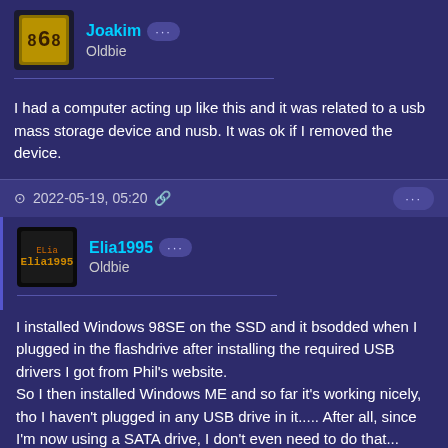Joakim ··· Oldbie
I had a computer acting up like this and it was related to a usb mass storage device and nusb. It was ok if I removed the device.
2022-05-19, 05:20 🔗 ···
Elia1995 ··· Oldbie
I installed Windows 98SE on the SSD and it bsodded when I plugged in the flashdrive after installing the required USB drivers I got from Phil's website.
So I then installed Windows ME and so far it's working nicely, tho I haven't plugged in any USB drive in it..... After all, since I'm now using a SATA drive, I don't even need to do that...